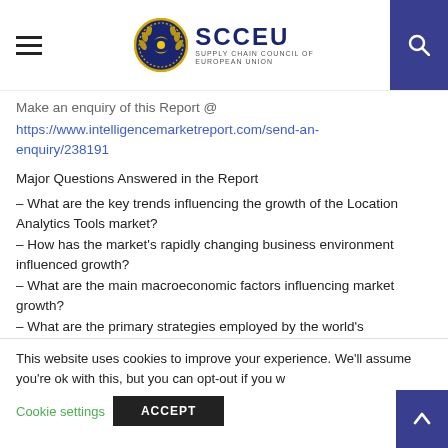SCCEU — Supply Chain Council of European Union
Make an enquiry of this Report @
https://www.intelligencemarketreport.com/send-an-enquiry/238191
Major Questions Answered in the Report
– What are the key trends influencing the growth of the Location Analytics Tools market?
– How has the market's rapidly changing business environment influenced growth?
– What are the main macroeconomic factors influencing market growth?
– What are the primary strategies employed by the world's
This website uses cookies to improve your experience. We'll assume you're ok with this, but you can opt-out if you w
Cookie settings   ACCEPT